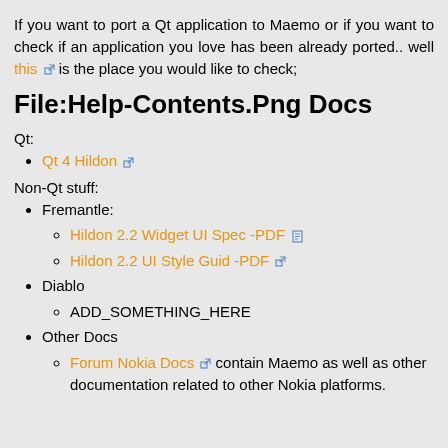If you want to port a Qt application to Maemo or if you want to check if an application you love has been already ported.. well this is the place you would like to check;
File:Help-Contents.Png Docs
Qt:
Qt 4 Hildon
Non-Qt stuff:
Fremantle:
Hildon 2.2 Widget UI Spec -PDF
Hildon 2.2 UI Style Guid -PDF
Diablo
ADD_SOMETHING_HERE
Other Docs
Forum Nokia Docs contain Maemo as well as other documentation related to other Nokia platforms.